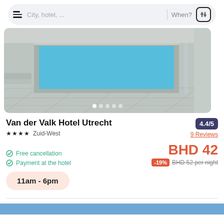[Figure (screenshot): Mobile app navigation bar with hamburger menu, search field showing 'City, hotel, ...', 'When?' text, and filter icon button]
[Figure (photo): Hotel bathroom/pool area with marble-clad pool, blue water, grey tiled floor and walls, modern minimalist design. Image carousel with 5 dots indicator.]
Van der Valk Hotel Utrecht
★★★★  Zuid-West
4.4/5
9 Reviews
Free cancellation
Payment at the hotel
BHD 42
-19%  BHD 52 per night
11am - 6pm